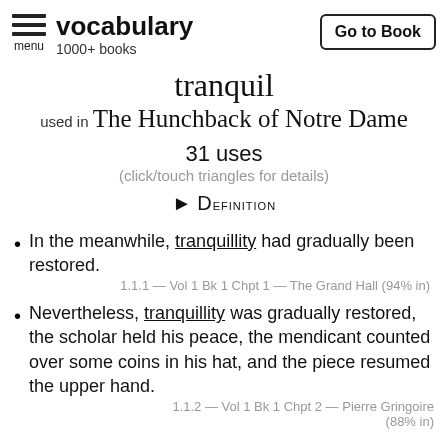vocabulary 1000+ books
tranquil used in The Hunchback of Notre Dame
31 uses
(click/touch triangles for details)
▶ Definition
In the meanwhile, tranquillity had gradually been restored.
1.1.1 — Vol 1 Bk 1 Chpt 1 — The Grand Hall (94% in)
Nevertheless, tranquillity was gradually restored, the scholar held his peace, the mendicant counted over some coins in his hat, and the piece resumed the upper hand.
1.1.2 — Vol 1 Bk 1 Chpt 2 — Pierre Gringoire (88% in)